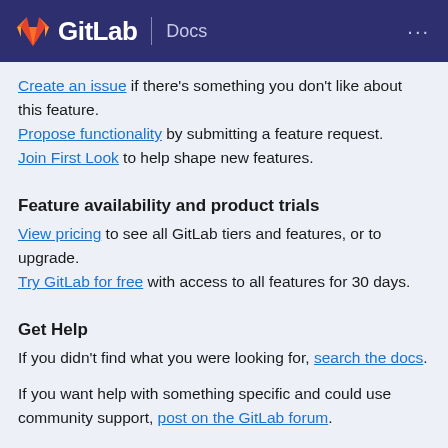GitLab Docs
Create an issue if there's something you don't like about this feature.
Propose functionality by submitting a feature request.
Join First Look to help shape new features.
Feature availability and product trials
View pricing to see all GitLab tiers and features, or to upgrade.
Try GitLab for free with access to all features for 30 days.
Get Help
If you didn't find what you were looking for, search the docs.
If you want help with something specific and could use community support, post on the GitLab forum.
For problems setting up or using this feature